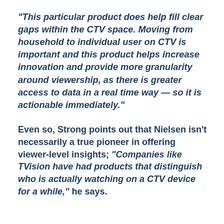"This particular product does help fill clear gaps within the CTV space. Moving from household to individual user on CTV is important and this product helps increase innovation and provide more granularity around viewership, as there is greater access to data in a real time way — so it is actionable immediately."
Even so, Strong points out that Nielsen isn't necessarily a true pioneer in offering viewer-level insights; "Companies like TVision have had products that distinguish who is actually watching on a CTV device for a while," he says.